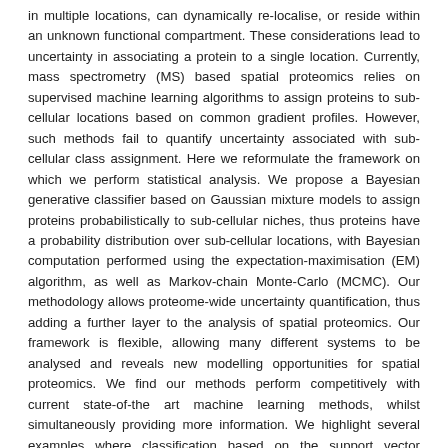in multiple locations, can dynamically re-localise, or reside within an unknown functional compartment. These considerations lead to uncertainty in associating a protein to a single location. Currently, mass spectrometry (MS) based spatial proteomics relies on supervised machine learning algorithms to assign proteins to sub-cellular locations based on common gradient profiles. However, such methods fail to quantify uncertainty associated with sub-cellular class assignment. Here we reformulate the framework on which we perform statistical analysis. We propose a Bayesian generative classifier based on Gaussian mixture models to assign proteins probabilistically to sub-cellular niches, thus proteins have a probability distribution over sub-cellular locations, with Bayesian computation performed using the expectation-maximisation (EM) algorithm, as well as Markov-chain Monte-Carlo (MCMC). Our methodology allows proteome-wide uncertainty quantification, thus adding a further layer to the analysis of spatial proteomics. Our framework is flexible, allowing many different systems to be analysed and reveals new modelling opportunities for spatial proteomics. We find our methods perform competitively with current state-of-the art machine learning methods, whilst simultaneously providing more information. We highlight several examples where classification based on the support vector machine is unable to make any conclusions, while uncertainty quantification using our approach provides biologically intriguing results. To our knowledge this is the first Bayesian model of MS-based spatial proteomics data.
Keywords
Subcellular Fractions, Animals, Mice, Bayes Theorem, Uncertainty,